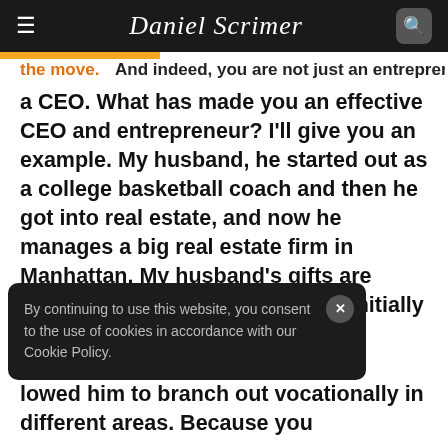Daniel Scrimer
the move. And indeed, you are not just an entrepreneur, and a CEO. What has made you an effective CEO and entrepreneur? I'll give you an example. My husband, he started out as a college basketball coach and then he got into real estate, and now he manages a big real estate firm in Manhattan. My husband's gifts are leadership and motivation. That initially manifest itself in college basketball when he was the captain of his team, and then when he coached, but when he coached college basketball, and now he manages 200 plus agents in Manhattan.
By continuing to use this website, you consent to the use of cookies in accordance with our Cookie Policy.
lowed him to branch out vocationally in different areas. Because you